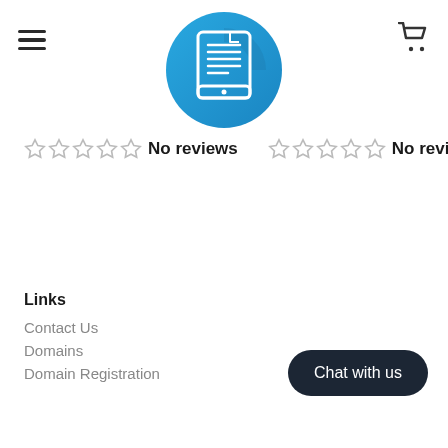[Figure (logo): Blue circular logo with a document/tablet icon in white lines, set on a light blue gradient circle background]
☆☆☆☆☆ No reviews   ☆☆☆☆☆ No reviews
Links
Contact Us
Domains
Domain Registration
Chat with us